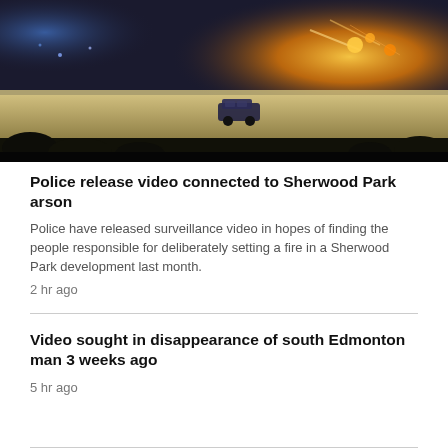[Figure (photo): Night surveillance camera footage showing a parking lot or road with a car visible under bright orange/yellow lights in the background and dark silhouettes of trees at the bottom.]
Police release video connected to Sherwood Park arson
Police have released surveillance video in hopes of finding the people responsible for deliberately setting a fire in a Sherwood Park development last month.
2 hr ago
Video sought in disappearance of south Edmonton man 3 weeks ago
5 hr ago